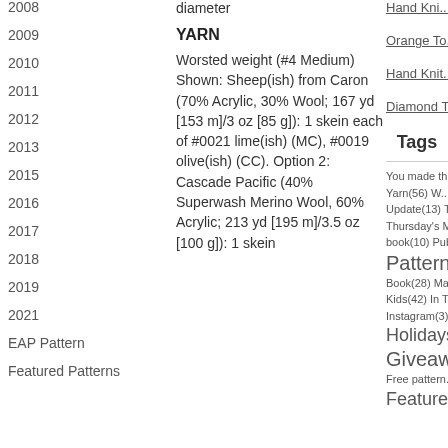2008
2009
2010
2011
2012
2013
2015
2016
2017
2018
2019
2021
EAP Pattern
Featured Patterns
diameter
YARN
Worsted weight (#4 Medium) Shown: Sheep(ish) from Caron (70% Acrylic, 30% Wool; 167 yd [153 m]/3 oz [85 g]): 1 skein each of #0021 lime(ish) (MC), #0019 olive(ish) (CC). Option 2: Cascade Pacific (40% Superwash Merino Wool, 60% Acrylic; 213 yd [195 m]/3.5 oz [100 g]): 1 skein
Hand Kni...
Orange To...
Hand Knit...
Diamond T...
Tags
You made thi... Yarn(56) W... Update(13) T... Thursday's M... book(10) Pub... Pattern... Book(28) Ma... Kids(42) In T... Instagram(3) Holidays(8... Giveaw... Free pattern... Feature...